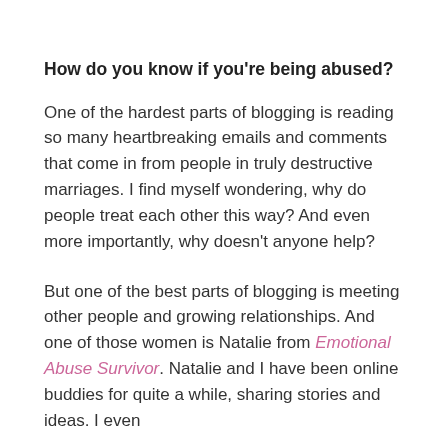How do you know if you're being abused?
One of the hardest parts of blogging is reading so many heartbreaking emails and comments that come in from people in truly destructive marriages. I find myself wondering, why do people treat each other this way? And even more importantly, why doesn't anyone help?
But one of the best parts of blogging is meeting other people and growing relationships. And one of those women is Natalie from Emotional Abuse Survivor. Natalie and I have been online buddies for quite a while, sharing stories and ideas. I even